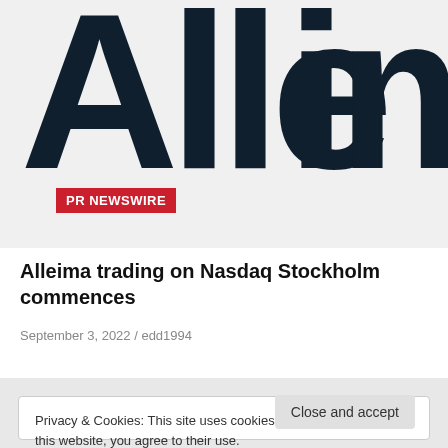[Figure (logo): Large stylized Alleima company logo text cropped, showing letters 'Alle' in dark navy on light grey background]
PR NEWSWIRE
Alleima trading on Nasdaq Stockholm commences
September 3, 2022 / edd1994
Privacy & Cookies: This site uses cookies. By continuing to use this website, you agree to their use.
To find out more, including how to control cookies, see here: Cookie Policy
Close and accept